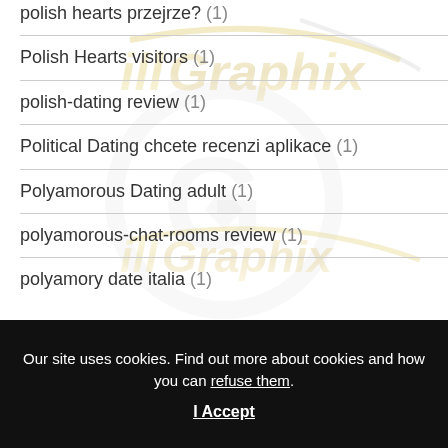polish hearts przejrze? (1)
Polish Hearts visitors (1)
polish-dating review (1)
Political Dating chcete recenzi aplikace (1)
Polyamorous Dating adult (1)
polyamorous-chat-rooms review (1)
polyamory date italia (1)
Our site uses cookies. Find out more about cookies and how you can refuse them.
I Accept